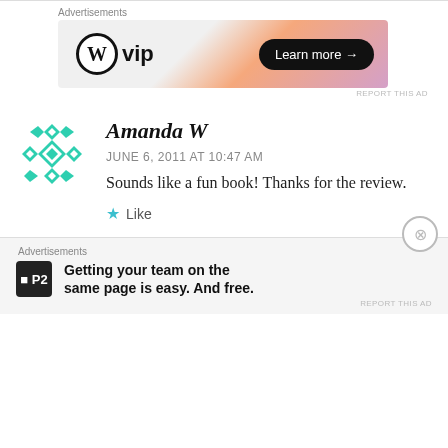[Figure (other): WordPress VIP advertisement banner with logo on left and 'Learn more →' button on right, orange/pink gradient background]
Amanda W
JUNE 6, 2011 AT 10:47 AM
Sounds like a fun book! Thanks for the review.
★ Like
[Figure (other): P2 advertisement: 'Getting your team on the same page is easy. And free.' with P2 logo]